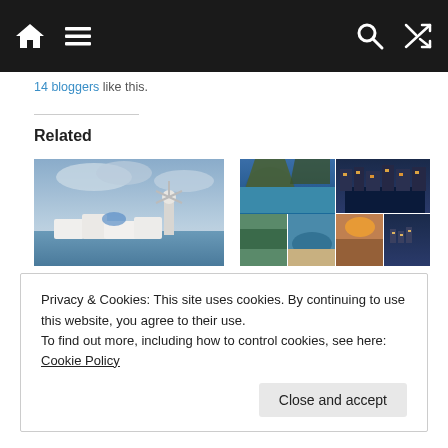[Figure (screenshot): Navigation bar with home icon, hamburger menu icon on the left, and search icon, shuffle icon on the right, on dark background]
14 bloggers like this.
Related
[Figure (photo): Photo of Santorini, Greece showing white buildings and windmill against cloudy blue sky]
Solo Travel Series – Santorini, Greece
[Figure (photo): Collage of 6 European honeymoon destination photos showing coastal cliffs, Amsterdam canal, and other scenes]
8 Famous Honeymoon Destinations in Europe
Privacy & Cookies: This site uses cookies. By continuing to use this website, you agree to their use.
To find out more, including how to control cookies, see here: Cookie Policy
Close and accept